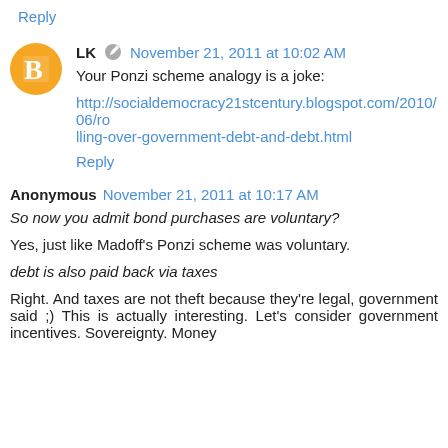Reply
LK  November 21, 2011 at 10:02 AM
Your Ponzi scheme analogy is a joke:
http://socialdemocracy21stcentury.blogspot.com/2010/06/rolling-over-government-debt-and-debt.html
Reply
Anonymous  November 21, 2011 at 10:17 AM
So now you admit bond purchases are voluntary?
Yes, just like Madoff's Ponzi scheme was voluntary.
debt is also paid back via taxes
Right. And taxes are not theft because they're legal, government said ;) This is actually interesting. Let's consider government incentives. Sovereignty. Money